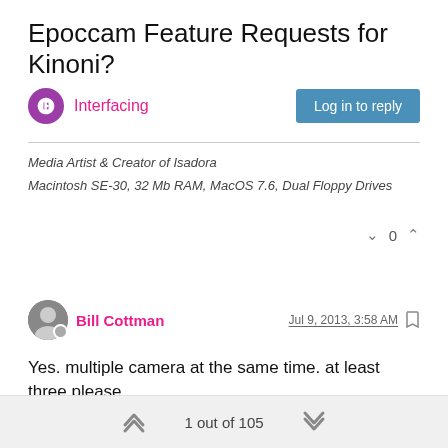Epoccam Feature Requests for Kinoni?
Interfacing
Log in to reply
Media Artist & Creator of Isadora
Macintosh SE-30, 32 Mb RAM, MacOS 7.6, Dual Floppy Drives
0
Bill Cottman
Jul 9, 2013, 3:58 AM
Yes. multiple camera at the same time. at least three please.
http://www.BillCottman.com : Isadora3.0.8f09 with MBP OS X 10.11.6 in Minneapolis, MN
0
1 out of 105